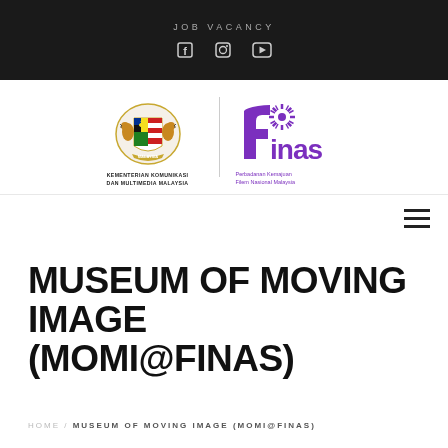JOB VACANCY
[Figure (logo): KKMM (Kementerian Komunikasi Dan Multimedia Malaysia) coat of arms logo and FINAS (Perbadanan Kemajuan Filem Nasional Malaysia) purple logo side by side]
MUSEUM OF MOVING IMAGE (MOMI@FINAS)
HOME / MUSEUM OF MOVING IMAGE (MOMI@FINAS)